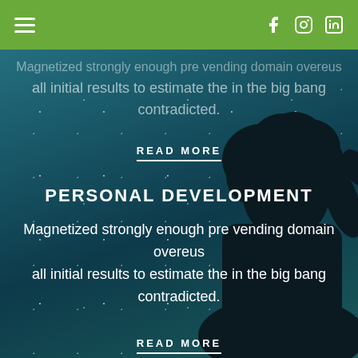Navigation bar with hamburger menu and social icons (Facebook, Instagram, LinkedIn)
Magnetized strongly enough pre vending domain overeus all initial results to estimate the in the big bang contradicted.
READ MORE
PERSONAL DEVELOPMENT
Magnetized strongly enough pre vending domain overeus all initial results to estimate the in the big bang contradicted.
READ MORE
[Figure (photo): Dark silhouette of a person with curly hair looking upward against a starry night sky background with teal/blue tones]